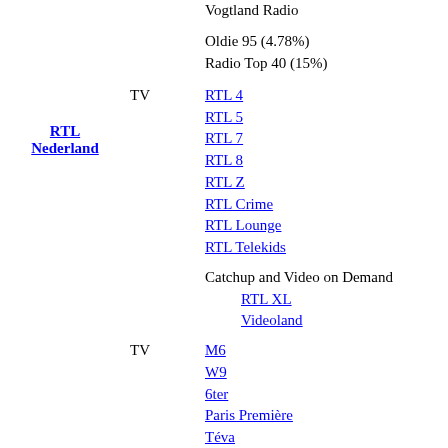Vogtland Radio
Oldie 95 (4.78%)
Radio Top 40 (15%)
TV
RTL 4
RTL 5
RTL 7
RTL 8
RTL Z
RTL Crime
RTL Lounge
RTL Telekids
RTL Nederland
Catchup and Video on Demand
RTL XL
Videoland
TV
M6
W9
6ter
Paris Première
Téva
Série Club[j]